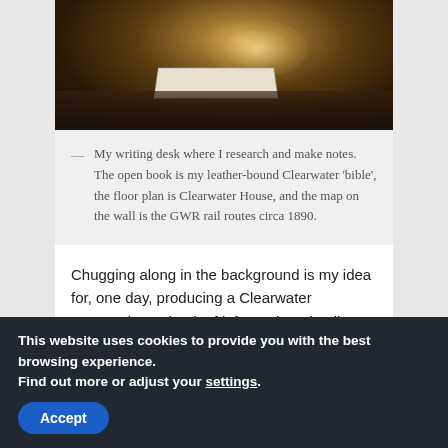[Figure (photo): A writing desk photographed in dim lighting, showing an open leather-bound book, papers with floor plan, a lamp casting warm light, and various books and items on the desk surface.]
— My writing desk where I research and make notes. The open book is my leather-bound Clearwater 'bible', the floor plan is Clearwater House, and the map on the wall is the GWR rail routes circa 1890.
Chugging along in the background is my idea for, one day, producing a Clearwater Companion, a book of information, details, maybe illustrations if I can afford an artist, and other snippets for anyone who might be
This website uses cookies to provide you with the best browsing experience.
Find out more or adjust your settings.
Accept